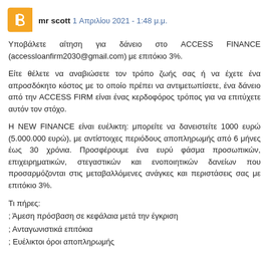mr scott  1 Απριλίου 2021 - 1:48 μ.μ.
Υποβάλετε αίτηση για δάνειο στο ACCESS FINANCE (accessloanfirm2030@gmail.com) με επιτόκιο 3%.
Είτε θέλετε να αναβιώσετε τον τρόπο ζωής σας ή να έχετε ένα απροσδόκητο κόστος με το οποίο πρέπει να αντιμετωπίσετε, ένα δάνειο από την ACCESS FIRM είναι ένας κερδοφόρος τρόπος για να επιτύχετε αυτόν τον στόχο.
Η NEW FINANCE είναι ευέλικτη: μπορείτε να δανειστείτε 1000 ευρώ (5.000.000 ευρώ), με αντίστοιχες περιόδους αποπληρωμής από 6 μήνες έως 30 χρόνια. Προσφέρουμε ένα ευρύ φάσμα προσωπικών, επιχειρηματικών, στεγαστικών και ενοποιητικών δανείων που προσαρμόζονται στις μεταβαλλόμενες ανάγκες και περιστάσεις σας με επιτόκιο 3%.
Τι πήρες:
; Άμεση πρόσβαση σε κεφάλαια μετά την έγκριση
; Ανταγωνιστικά επιτόκια
; Ευέλικτοι όροι αποπληρωμής